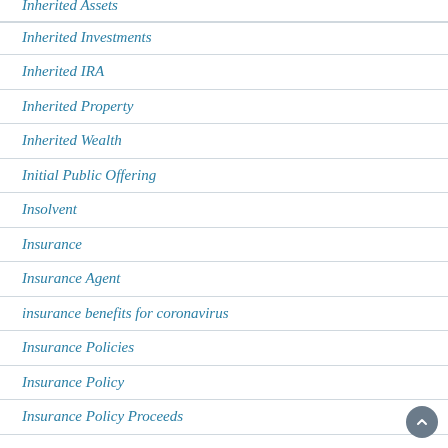Inherited Assets
Inherited Investments
Inherited IRA
Inherited Property
Inherited Wealth
Initial Public Offering
Insolvent
Insurance
Insurance Agent
insurance benefits for coronavirus
Insurance Policies
Insurance Policy
Insurance Policy Proceeds